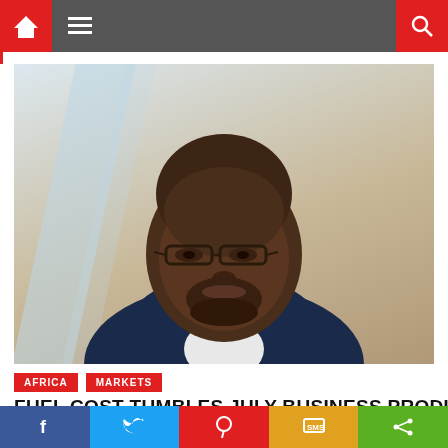Navigation bar with home icon, hamburger menu, and search icon
[Figure (photo): Portrait photo of a bald African man wearing glasses and a dark blue suit with white shirt, posing against a light diagonal-striped background]
AFRICA   MARKETS
FUEL COST TUMBLES JULY BUSINESS PRODUCTIVITY
Social share buttons: Facebook, Twitter, Pinterest, SMS, Share